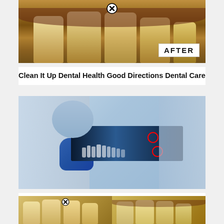[Figure (photo): Close-up photo of teeth with 'AFTER' label badge, showing dental condition after treatment, with a close/X icon overlay at top]
Clean It Up Dental Health Good Directions Dental Care
[Figure (photo): Dentist in blue gloves and mask holding a dental panoramic X-ray with two red circles highlighting wisdom teeth areas, assistant visible in background]
Wisdom Teeth Removal Toronto – Affordable Wisdom Tooth Extraction
[Figure (photo): Two partial thumbnail images of teeth at bottom of page, each with a close/X icon overlay]